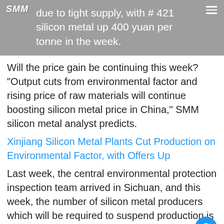due to tight supply, with # 421 silicon metal up 400 yuan per tonne in the week.
Will the price gain be continuing this week? "Output cuts from environmental factor and rising price of raw materials will continue boosting silicon metal price in China," SMM silicon metal analyst predicts.
Xinjiang Silicon Metal Plants Cut Production on Environmental Factor, with Offers Up
Last week, the central environmental protection inspection team arrived in Sichuan, and this week, the number of silicon metal producers which will be required to suspend production is likely to grow.
Moreover, raw material prices, such as high-sulfur coke and graphite electrode, are still on